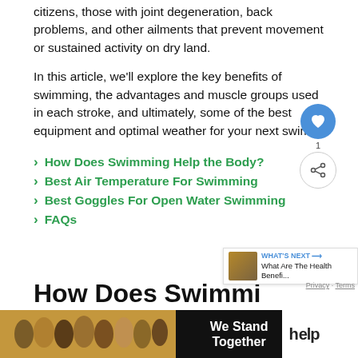citizens, those with joint degeneration, back problems, and other ailments that prevent movement or sustained activity on dry land.
In this article, we'll explore the key benefits of swimming, the advantages and muscle groups used in each stroke, and ultimately, some of the best equipment and optimal weather for your next swim.
How Does Swimming Help the Body?
Best Air Temperature For Swimming
Best Goggles For Open Water Swimming
FAQs
[Figure (screenshot): Advertisement banner: group of people with 'We Stand Together' text]
How Does Swimming Help the Body?